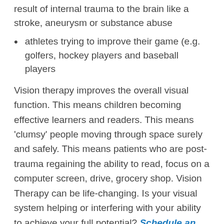result of internal trauma to the brain like a stroke, aneurysm or substance abuse
athletes trying to improve their game (e.g. golfers, hockey players and baseball players
Vision therapy improves the overall visual function. This means children becoming effective learners and readers. This means ‘clumsy’ people moving through space surely and safely. This means patients who are post-trauma regaining the ability to read, focus on a computer screen, drive, grocery shop. Vision Therapy can be life-changing. Is your visual system helping or interfering with your ability to achieve your full potential? Schedule an appointment to find out.
Take our Virtual Tour.